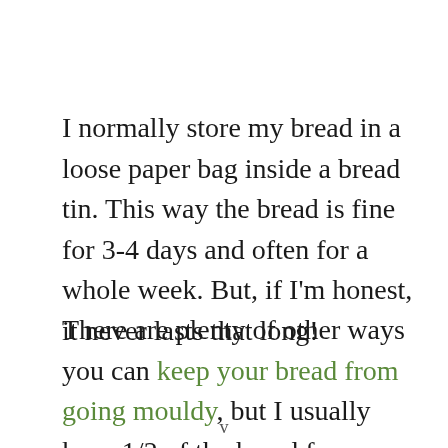I normally store my bread in a loose paper bag inside a bread tin. This way the bread is fine for 3-4 days and often for a whole week. But, if I'm honest, it never lasts that long!
There are plenty of other ways you can keep your bread from going mouldy, but I usually keep 1/2 of the bread for